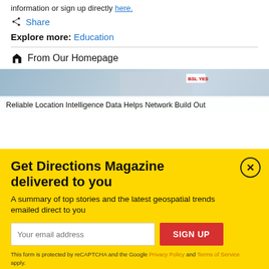information or sign up directly here.
Share
Explore more: Education
From Our Homepage
[Figure (photo): Article thumbnail image with BSL YES badge, showing network/technology imagery]
Reliable Location Intelligence Data Helps Network Build Out
Get Directions Magazine delivered to you
A summary of top stories and the latest geospatial trends emailed direct to you
Your email address
SIGN UP
This form is protected by reCAPTCHA and the Google Privacy Policy and Terms of Service apply.